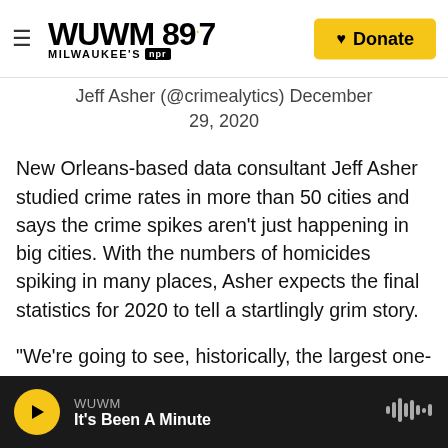WUWM 89.7 Milwaukee's NPR — Donate
Jeff Asher (@crimealytics) December 29, 2020
New Orleans-based data consultant Jeff Asher studied crime rates in more than 50 cities and says the crime spikes aren't just happening in big cities. With the numbers of homicides spiking in many places, Asher expects the final statistics for 2020 to tell a startlingly grim story.
"We're going to see, historically, the largest one-year rise in murder that we've ever seen," he says.
Asher says it has been more than a half-century
WUWM — It's Been A Minute